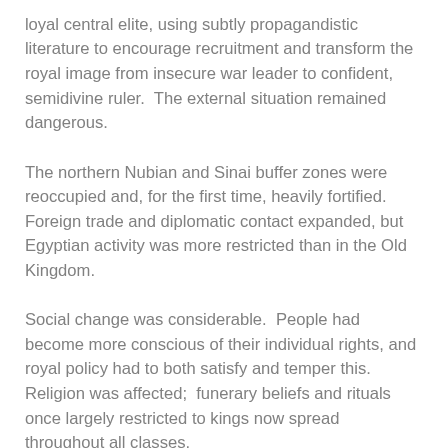loyal central elite, using subtly propagandistic literature to encourage recruitment and transform the royal image from insecure war leader to confident, semidivine ruler.  The external situation remained dangerous.
The northern Nubian and Sinai buffer zones were reoccupied and, for the first time, heavily fortified.  Foreign trade and diplomatic contact expanded, but Egyptian activity was more restricted than in the Old Kingdom.
Social change was considerable.  People had become more conscious of their individual rights, and royal policy had to both satisfy and temper this.  Religion was affected;  funerary beliefs and rituals once largely restricted to kings now spread throughout all classes.
First Intermediate period Egyptians had felt